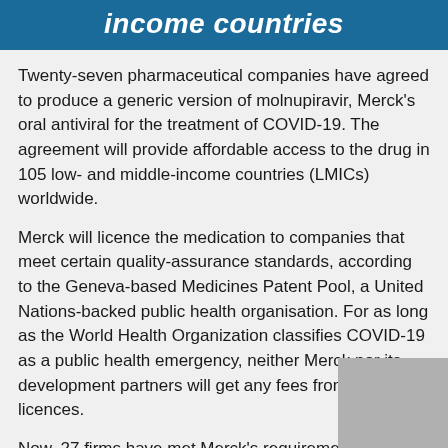income countries
Twenty-seven pharmaceutical companies have agreed to produce a generic version of molnupiravir, Merck's oral antiviral for the treatment of COVID-19. The agreement will provide affordable access to the drug in 105 low- and middle-income countries (LMICs) worldwide.
Merck will licence the medication to companies that meet certain quality-assurance standards, according to the Geneva-based Medicines Patent Pool, a United Nations-backed public health organisation. For as long as the World Health Organization classifies COVID-19 as a public health emergency, neither Merck nor its development partners will get any fees from the licences.
Now, 27 firms have met Merck's requirements: five will make the drug's basic ingredients, nine will produce the completed product, and thirteen will produce both.
Merck Executive Director Charles Gore said in a statement, “We are encouraged by the huge number of new and existing partners who have moved fast to gain a sublicense for
[Figure (photo): Gray placeholder image in bottom right corner]